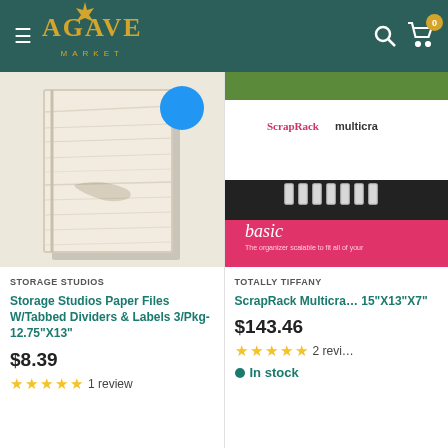Agave Market — navigation header
[Figure (photo): Storage Studios Paper Files product image showing wood-texture binder/file folder with blue circular tag at top right]
STORAGE STUDIOS
Storage Studios Paper Files W/Tabbed Dividers & Labels 3/Pkg-12.75"X13"
$8.39
★★★★★ 1 review
[Figure (photo): ScrapRack Multicraft product box image showing ring binder clips and pink/multicolor packaging with ScrapRack multicraft branding]
TOTALLY TIFFANY
ScrapRack Multicraft 15"X13"X7"
$143.46
★★★★★ 2 reviews
● In stock